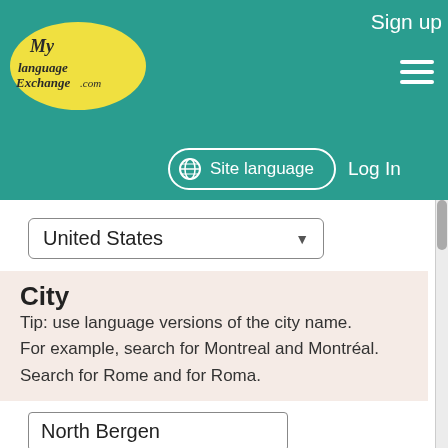MyLanguageExchange.com — Sign up | Site language | Log In
United States
City
Tip: use language versions of the city name.
For example, search for Montreal and Montréal.
Search for Rome and for Roma.
North Bergen
Insert Accents
Age
From: Optional  To: Optional
Gender
-- All --
Is a classroom